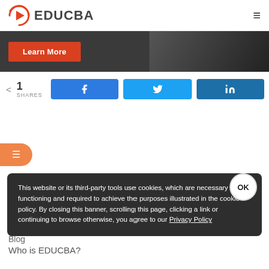EDUCBA
[Figure (screenshot): Dark banner with Learn More button in red]
1 SHARES
[Figure (infographic): Facebook, Twitter, LinkedIn share buttons]
Cookie notice: This website or its third-party tools use cookies, which are necessary to its functioning and required to achieve the purposes illustrated in the cookie policy. By closing this banner, scrolling this page, clicking a link or continuing to browse otherwise, you agree to our Privacy Policy
About us
Blog
Who is EDUCBA?